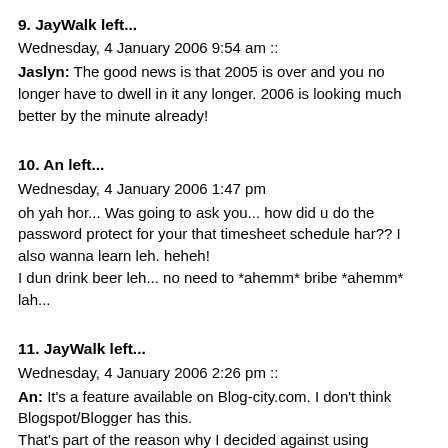9. JayWalk left...
Wednesday, 4 January 2006 9:54 am ::
Jaslyn: The good news is that 2005 is over and you no longer have to dwell in it any longer. 2006 is looking much better by the minute already!
10. An left...
Wednesday, 4 January 2006 1:47 pm
oh yah hor... Was going to ask you... how did u do the password protect for your that timesheet schedule har?? I also wanna learn leh. heheh!
I dun drink beer leh... no need to *ahemm* bribe *ahemm* lah...
11. JayWalk left...
Wednesday, 4 January 2006 2:26 pm ::
An: It's a feature available on Blog-city.com. I don't think Blogspot/Blogger has this.
That's part of the reason why I decided against using